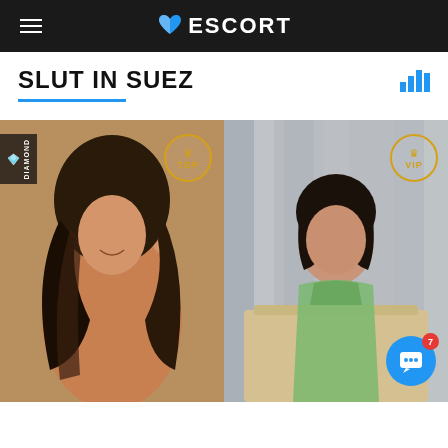ESCORT
SLUT IN SUEZ
[Figure (photo): Two escort profile photos side by side. Left photo shows a young woman with long dark curly hair, posing on a white couch, with DIAMOND and TOP badges. Right photo shows a young woman with short dark hair in a green dress seated on a chair, with VIP badge. A chat button with notification badge (7) is visible in the bottom right.]